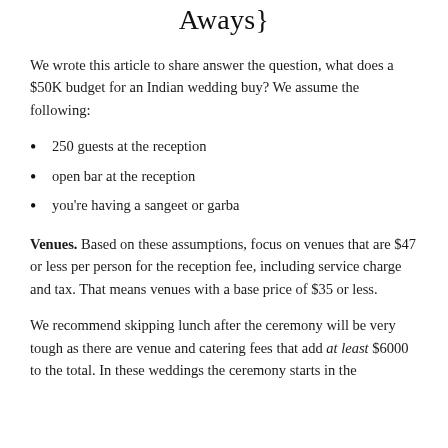Aways}
We wrote this article to share answer the question, what does a $50K budget for an Indian wedding buy? We assume the following:
250 guests at the reception
open bar at the reception
you're having a sangeet or garba
Venues. Based on these assumptions, focus on venues that are $47 or less per person for the reception fee, including service charge and tax. That means venues with a base price of $35 or less.
We recommend skipping lunch after the ceremony will be very tough as there are venue and catering fees that add at least $6000 to the total. In these weddings the ceremony starts in the